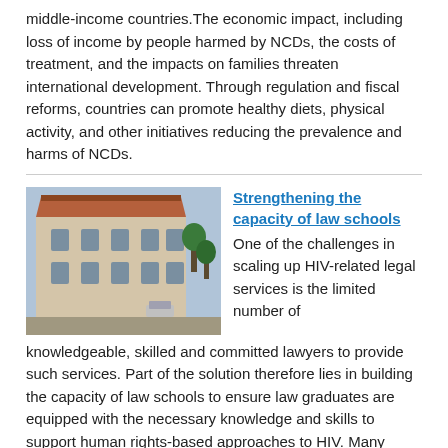middle-income countries. The economic impact, including loss of income by people harmed by NCDs, the costs of treatment, and the impacts on families threaten international development. Through regulation and fiscal reforms, countries can promote healthy diets, physical activity, and other initiatives reducing the prevalence and harms of NCDs.
[Figure (photo): Aerial view of a large historic building with red/orange tiled roof, surrounded by streets and trees]
Strengthening the capacity of law schools
One of the challenges in scaling up HIV-related legal services is the limited number of knowledgeable, skilled and committed lawyers to provide such services. Part of the solution therefore lies in building the capacity of law schools to ensure law graduates are equipped with the necessary knowledge and skills to support human rights-based approaches to HIV. Many universities, including in East Africa, offer clinical legal education programs to give students direct experience of providing legal information to clients.
[Figure (photo): A smiling woman at what appears to be a market stall with colorful fabrics]
DREAMS: HIV services for adolescent girls and young women